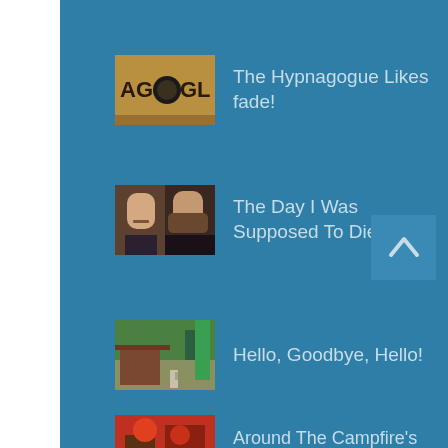The Hypnagogue Likes fade!
The Day I Was Supposed To Die
Hello, Goodbye, Hello!
Around The Campfire's first